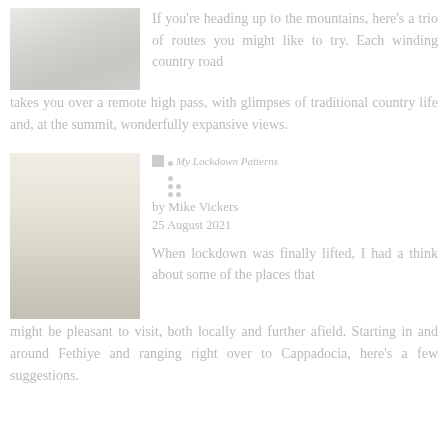[Figure (photo): A winding road through a mountainous or high-pass landscape, light grey-toned photograph]
If you're heading up to the mountains, here's a trio of routes you might like to try. Each winding country road takes you over a remote high pass, with glimpses of traditional country life and, at the summit, wonderfully expansive views.
[Figure (photo): A pale, misty landscape photograph showing flat terrain with a faint horizon, warm light tones]
My Lockdown Patterns
by Mike Vickers
25 August 2021
When lockdown was finally lifted, I had a think about some of the places that might be pleasant to visit, both locally and further afield. Starting in and around Fethiye and ranging right over to Cappadocia, here's a few suggestions.